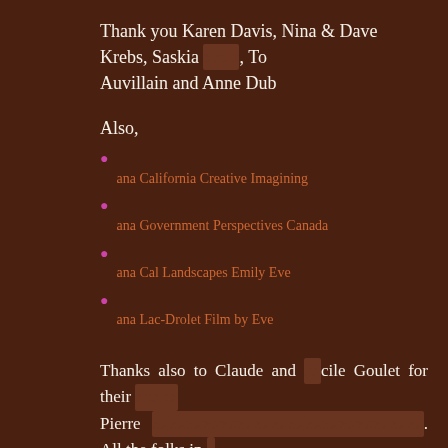Thank you Karen Davis, Nina & Dave Krebs, Saskia [redacted], To Auvillain and Anne Dub
Also,
[bullet] [link redacted]
[bullet] [link redacted]
[bullet] [link redacted]
[bullet] [link redacted]
Thanks also to Claude and cile Goulet for their Pierre [redacted]. All the folks in Lambton, Lac-Drolet, La Guadeloupe, St-Honor and of cours Gina and Gilles at Auberge Androm de for always making us fe